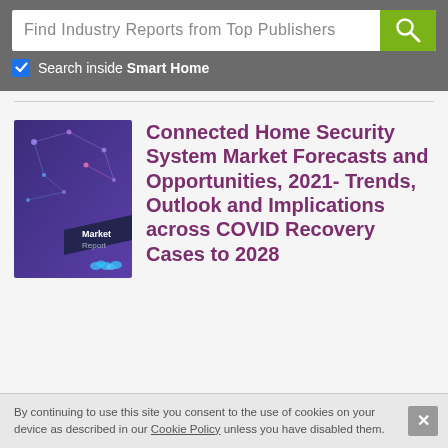Find Industry Reports from Top Publishers
Search inside Smart Home
[Figure (illustration): Market Report book cover with dark blue/purple background, network nodes and lines graphic, 'Market Report' label on spine, blue cloud icons at bottom right]
Connected Home Security System Market Forecasts and Opportunities, 2021- Trends, Outlook and Implications across COVID Recovery Cases to 2028
By continuing to use this site you consent to the use of cookies on your device as described in our Cookie Policy unless you have disabled them.